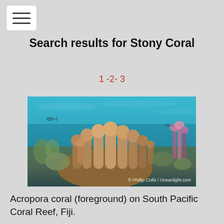[Figure (screenshot): Hamburger menu button icon with three horizontal lines]
Search results for Stony Coral
1 -2- 3
[Figure (photo): Underwater photograph of Acropora coral (foreground) on South Pacific Coral Reef, Fiji. Photo credit: © Phillip Colla / Oceanlight.com]
Acropora coral (foreground) on South Pacific Coral Reef, Fiji.